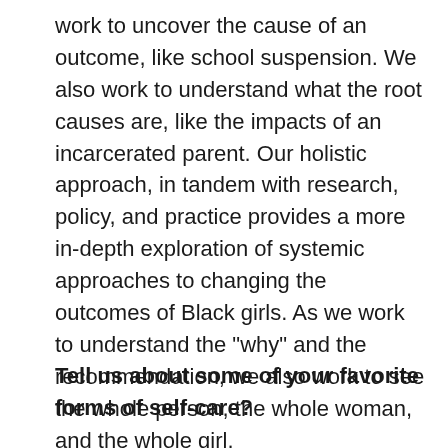work to uncover the cause of an outcome, like school suspension. We also work to understand what the root causes are, like the impacts of an incarcerated parent. Our holistic approach, in tandem with research, policy, and practice provides a more in-depth exploration of systemic approaches to changing the outcomes of Black girls. As we work to understand the "why" and the recommendation, we also work to see the whole person, the whole woman, and the whole girl.
Tell us about some of your favorite forms of self-care?